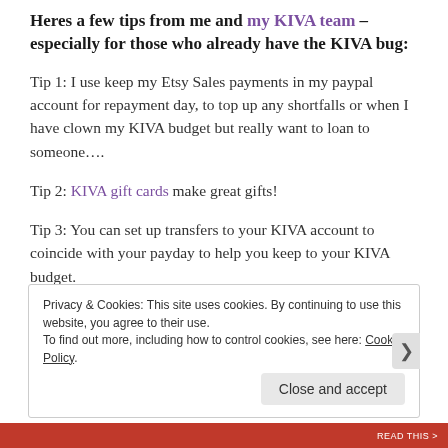Heres a few tips from me and my KIVA team – especially for those who already have the KIVA bug:
Tip 1: I use keep my Etsy Sales payments in my paypal account for repayment day, to top up any shortfalls or when I have clown my KIVA budget but really want to loan to someone….
Tip 2: KIVA gift cards make great gifts!
Tip 3: You can set up transfers to your KIVA account to coincide with your payday to help you keep to your KIVA budget.
Privacy & Cookies: This site uses cookies. By continuing to use this website, you agree to their use. To find out more, including how to control cookies, see here: Cookie Policy
Close and accept